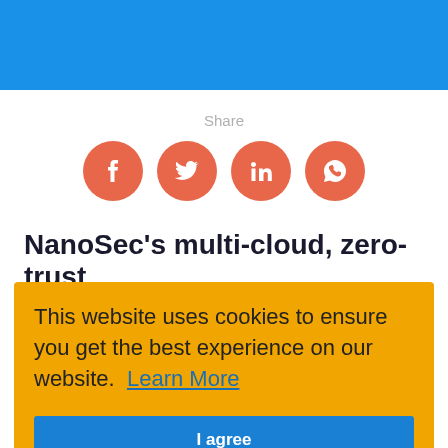[Figure (other): Blue header bar at top of page]
Share
[Figure (infographic): Social share icons: Facebook, Twitter, LinkedIn, WhatsApp — orange circles with white icons]
NanoSec's multi-cloud, zero-trust application visibility and security platform
...oad ...s multi- n. The acquisition will enable organizations to improve
This website uses cookies to ensure you get the best experience on our website. Learn More
I agree